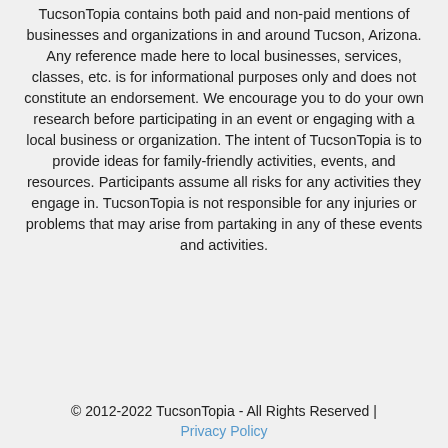TucsonTopia contains both paid and non-paid mentions of businesses and organizations in and around Tucson, Arizona. Any reference made here to local businesses, services, classes, etc. is for informational purposes only and does not constitute an endorsement. We encourage you to do your own research before participating in an event or engaging with a local business or organization. The intent of TucsonTopia is to provide ideas for family-friendly activities, events, and resources. Participants assume all risks for any activities they engage in. TucsonTopia is not responsible for any injuries or problems that may arise from partaking in any of these events and activities.
© 2012-2022 TucsonTopia - All Rights Reserved | Privacy Policy